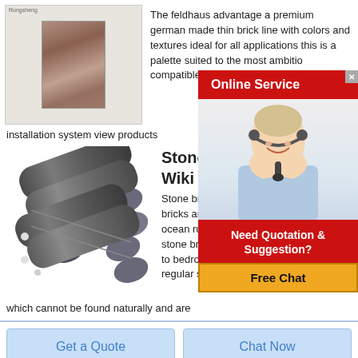[Figure (photo): Product image of a thin brick tile in brown/terracotta color with a small label 'Rongsheng' at top left]
The feldhaus advantage a premium german made thin brick line with colors and textures ideal for all applications this is a palette suited to the most ambitious compatible with pre installation system view products
[Figure (infographic): Online Service popup with red banner showing 'Online Service', a close button, and a photo of a blonde woman wearing a headset smiling]
[Figure (photo): Bundle of cylindrical grey/dark stone or graphite rods stacked together]
Stone Bricks Wiki
Stone bricks and th bricks mossy stone bricks are materials strongholds igloo b ocean ruins and ruined portals smooth stone bricks are a fifth variant exclusive to bedrock edition visually identical to regular stone bricks which cannot be found naturally and are
[Figure (infographic): Need Quotation & Suggestion? popup with red banner and yellow Free Chat button]
Get a Quote
Chat Now